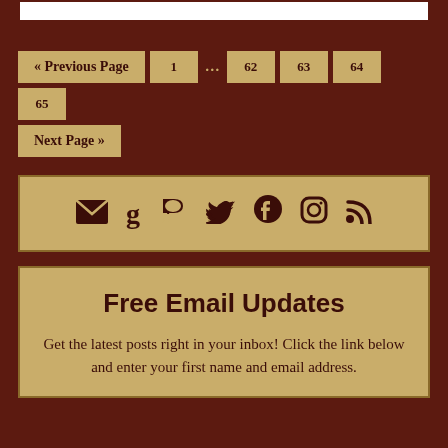[Figure (other): Top white box border element]
« Previous Page
1
...
62
63
64
65
Next Page »
[Figure (infographic): Social media icons row: email, Goodreads, Parler, Twitter, Facebook, Instagram, RSS]
Free Email Updates
Get the latest posts right in your inbox! Click the link below and enter your first name and email address.